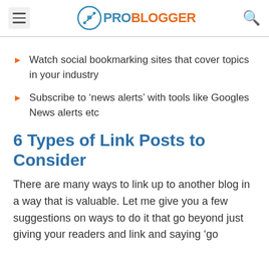ProBlogger
Watch social bookmarking sites that cover topics in your industry
Subscribe to 'news alerts' with tools like Googles News alerts etc
6 Types of Link Posts to Consider
There are many ways to link up to another blog in a way that is valuable. Let me give you a few suggestions on ways to do it that go beyond just giving your readers and link and saying 'go